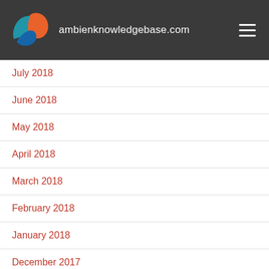ambienknowledgebase.com
July 2018
June 2018
May 2018
April 2018
March 2018
February 2018
January 2018
December 2017
November 2017
October 2017
September 2017